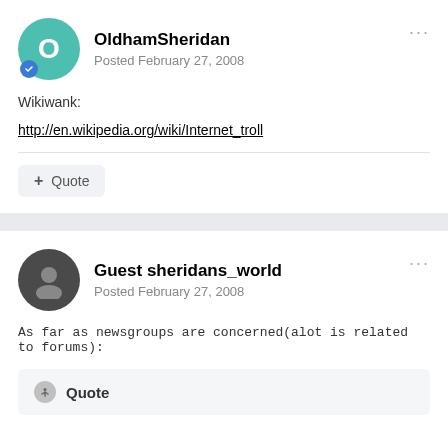OldhamSheridan — Posted February 27, 2008
Wikiwank:
http://en.wikipedia.org/wiki/Internet_troll
+ Quote
Guest sheridans_world — Posted February 27, 2008
As far as newsgroups are concerned(alot is related to forums):
Quote